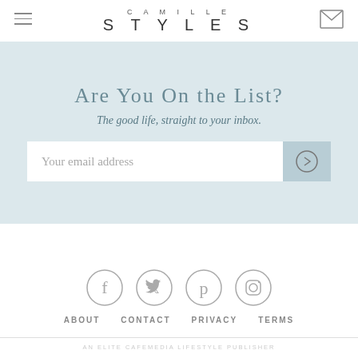CAMILLE STYLES
Are You On the List?
The good life, straight to your inbox.
[Figure (other): Email signup form with text input and submit arrow button]
[Figure (other): Social media icons: Facebook, Twitter, Pinterest, Instagram]
ABOUT   CONTACT   PRIVACY   TERMS
AN ELITE CAFEMEDIA LIFESTYLE PUBLISHER